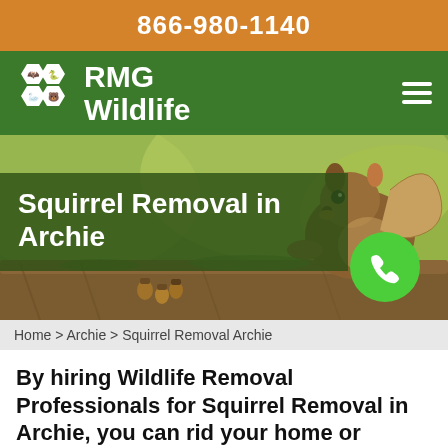866-980-1140
[Figure (logo): RMG Wildlife logo with hexagonal animal icons and white text on green background]
[Figure (photo): Squirrel on a log with acorns, outdoor nature background. Overlay title: Squirrel Removal in Archie. Green phone icon circle.]
Home > Archie > Squirrel Removal Archie
By hiring Wildlife Removal Professionals for Squirrel Removal in Archie, you can rid your home or